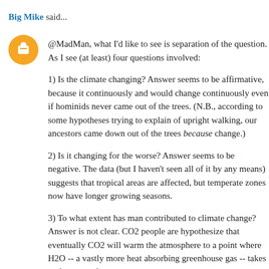Big Mike said...
@MadMan, what I'd like to see is separation of the question. As I see (at least) four questions involved:
1) Is the climate changing? Answer seems to be affirmative, because it continuously and would change continuously even if hominids never came out of the trees. (N.B., according to some hypotheses trying to explain of upright walking, our ancestors came down out of the trees because change.)
2) Is it changing for the worse? Answer seems to be negative. The data (but I haven't seen all of it by any means) suggests that tropical areas are affected, but temperate zones now have longer growing seasons.
3) To what extent has man contributed to climate change? Answer is not clear. CO2 people are hypothesize that eventually CO2 will warm the atmosphere to a point where H2O -- a vastly more heat absorbing greenhouse gas -- takes over so far none of the models appear to have accurately predicted what has happened over the past twenty to twenty-five years so should absolutely not be trusted.